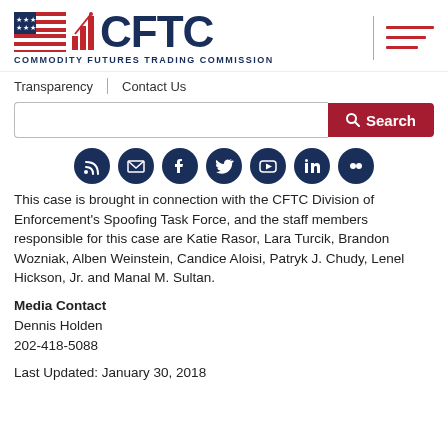[Figure (logo): CFTC - Commodity Futures Trading Commission logo with flag icon and bar chart]
Transparency | Contact Us
This case is brought in connection with the CFTC Division of Enforcement's Spoofing Task Force, and the staff members responsible for this case are Katie Rasor, Lara Turcik, Brandon Wozniak, Alben Weinstein, Candice Aloisi, Patryk J. Chudy, Lenel Hickson, Jr. and Manal M. Sultan.
Media Contact
Dennis Holden
202-418-5088
Last Updated: January 30, 2018